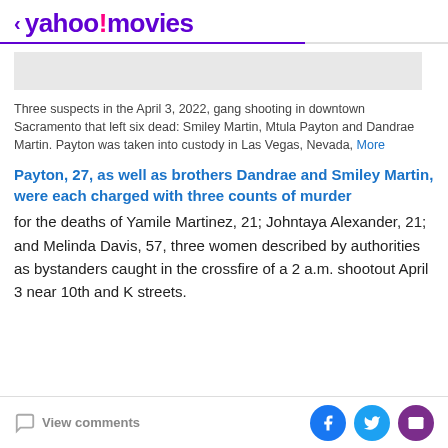< yahoo! movies
[Figure (other): Gray placeholder image box]
Three suspects in the April 3, 2022, gang shooting in downtown Sacramento that left six dead: Smiley Martin, Mtula Payton and Dandrae Martin. Payton was taken into custody in Las Vegas, Nevada, More
Payton, 27, as well as brothers Dandrae and Smiley Martin, were each charged with three counts of murder
for the deaths of Yamile Martinez, 21; Johntaya Alexander, 21; and Melinda Davis, 57, three women described by authorities as bystanders caught in the crossfire of a 2 a.m. shootout April 3 near 10th and K streets.
View comments